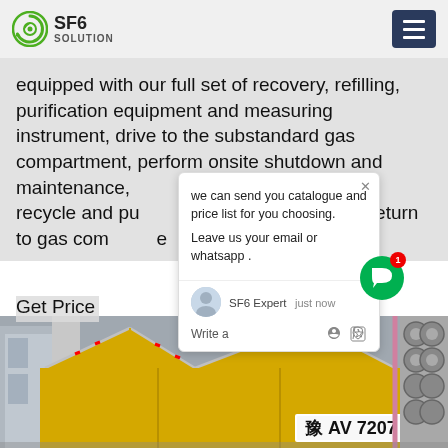SF6 SOLUTION
equipped with our full set of recovery, refilling, purification equipment and measuring instrument, drive to the substandard gas compartment, perform onsite shutdown and maintenance, recover unqualified SF6 gas, recycle and purify to make qualified and then return to gas compartment.
Get Price
[Figure (screenshot): Chat popup overlay with message: 'we can send you catalogue and price list for you choosing. Leave us your email or whatsapp .' with SF6 Expert avatar and 'just now' timestamp and Write a message input area]
[Figure (photo): Yellow SF6 gas truck/vehicle with license plate 豫AV 7207 parked near industrial equipment including large cylindrical tanks and cooling fans]